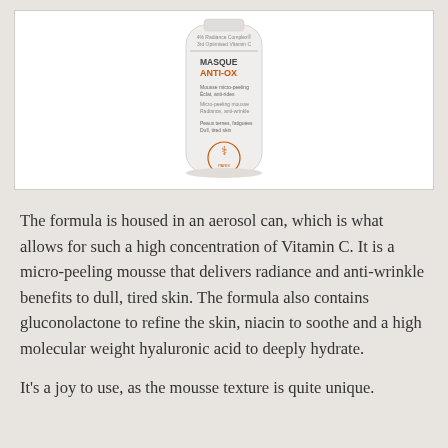[Figure (photo): Product photo of a white aerosol can labeled 'MASQUE ANTI-OX' with orange accent text, showing micro-peeling mousse description and a pharmacy/doctor seal stamp at the bottom of the can]
The formula is housed in an aerosol can, which is what allows for such a high concentration of Vitamin C. It is a micro-peeling mousse that delivers radiance and anti-wrinkle benefits to dull, tired skin. The formula also contains gluconolactone to refine the skin, niacin to soothe and a high molecular weight hyaluronic acid to deeply hydrate.
It's a joy to use, as the mousse texture is quite unique.